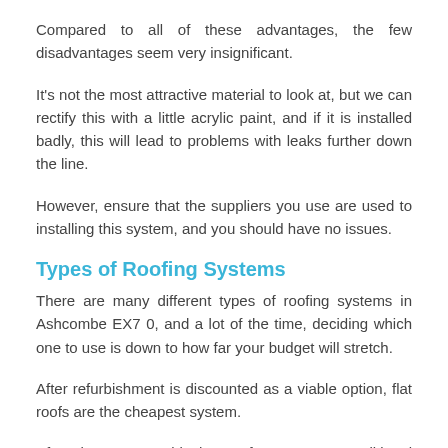Compared to all of these advantages, the few disadvantages seem very insignificant.
It's not the most attractive material to look at, but we can rectify this with a little acrylic paint, and if it is installed badly, this will lead to problems with leaks further down the line.
However, ensure that the suppliers you use are used to installing this system, and you should have no issues.
Types of Roofing Systems
There are many different types of roofing systems in Ashcombe EX7 0, and a lot of the time, deciding which one to use is down to how far your budget will stretch.
After refurbishment is discounted as a viable option, flat roofs are the cheapest system.
After that, you could choose from a more traditional pitch roof or go for the environmentally friendly approach instead. Here is a quick list of the various systems available and their advantages and disadvantages.